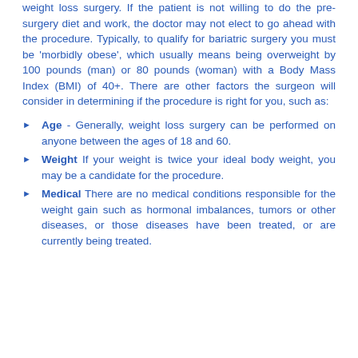weight loss surgery. If the patient is not willing to do the pre-surgery diet and work, the doctor may not elect to go ahead with the procedure. Typically, to qualify for bariatric surgery you must be 'morbidly obese', which usually means being overweight by 100 pounds (man) or 80 pounds (woman) with a Body Mass Index (BMI) of 40+. There are other factors the surgeon will consider in determining if the procedure is right for you, such as:
Age - Generally, weight loss surgery can be performed on anyone between the ages of 18 and 60.
Weight If your weight is twice your ideal body weight, you may be a candidate for the procedure.
Medical There are no medical conditions responsible for the weight gain such as hormonal imbalances, tumors or other diseases, or those diseases have been treated, or are currently being treated.